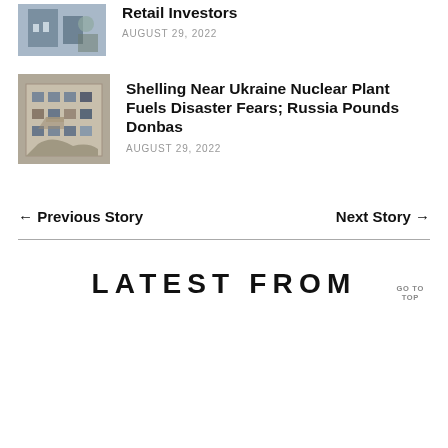[Figure (photo): Small thumbnail image of a retail scene (partially visible at top)]
Retail Investors
AUGUST 29, 2022
[Figure (photo): Thumbnail image of a damaged building, Ukraine war damage]
Shelling Near Ukraine Nuclear Plant Fuels Disaster Fears; Russia Pounds Donbas
AUGUST 29, 2022
← Previous Story
Next Story →
LATEST FROM
GO TO TOP